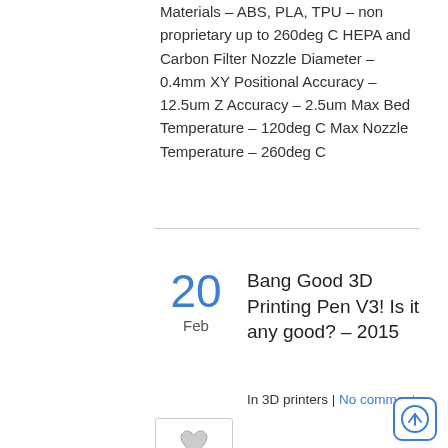Materials – ABS, PLA, TPU – non proprietary up to 260deg C HEPA and Carbon Filter Nozzle Diameter – 0.4mm XY Positional Accuracy – 12.5um Z Accuracy – 2.5um Max Bed Temperature – 120deg C Max Nozzle Temperature – 260deg C
Bang Good 3D Printing Pen V3! Is it any good? – 2015
In 3D printers | No comment
Several years ago I was disappointed in the Yaya 3D Printing